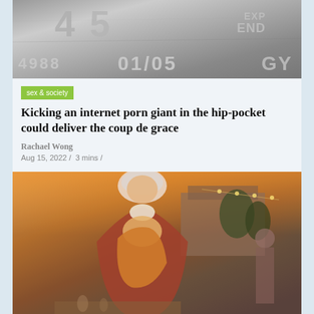[Figure (photo): Close-up photograph of a credit card showing raised metallic numbers: 4988 and 01/05, with partial text EXP END and partial letters on a metallic grey background]
sex & society
Kicking an internet porn giant in the hip-pocket could deliver the coup de grace
Rachael Wong
Aug 15, 2022 /  3 mins /
[Figure (photo): Warm outdoor photo of an elderly woman with white hair holding and smiling at a young boy in an orange hoodie, with another person visible in the background near a house and trees with string lights]